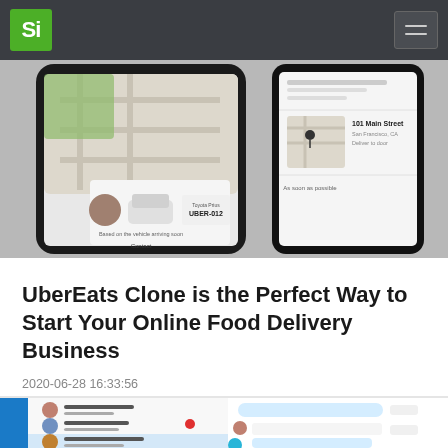Si [logo] | hamburger menu
[Figure (screenshot): Two smartphone screens showing Uber/UberEats app interfaces: left phone shows a driver tracking screen with 'UBER-012' license plate and map; right phone shows a delivery address screen with '101 Main Street, San Francisco, CA' and map pin.]
UberEats Clone is the Perfect Way to Start Your Online Food Delivery Business
2020-06-28 16:33:56
[Figure (screenshot): A messaging/chat application interface showing a contact list on the left (Casandra Sin, Jason Button, LaToya Race Riddle, Ryan Lambson) and a chat conversation on the right with messages about a party.]